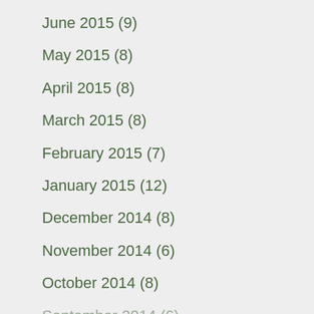June 2015 (9)
May 2015 (8)
April 2015 (8)
March 2015 (8)
February 2015 (7)
January 2015 (12)
December 2014 (8)
November 2014 (6)
October 2014 (8)
September 2014 (6)